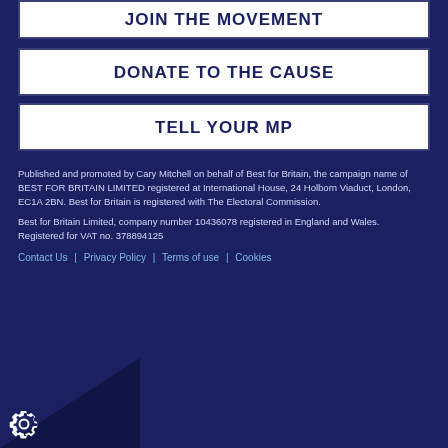JOIN THE MOVEMENT
DONATE TO THE CAUSE
TELL YOUR MP
Published and promoted by Cary Mitchell on behalf of Best for Britain, the campaign name of BEST FOR BRITAIN LIMITED registered at International House, 24 Holborn Viaduct, London, EC1A 2BN. Best for Britain is registered with The Electoral Commission.
Best for Britain Limited, company number 10436078 registered in England and Wales.
Registered for VAT no. 378894125
Contact Us | Privacy Policy | Terms of use | Cookies